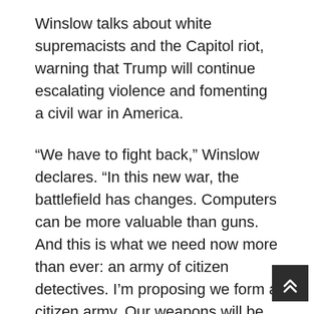Winslow talks about white supremacists and the Capitol riot, warning that Trump will continue escalating violence and fomenting a civil war in America.
“We have to fight back,” Winslow declares. “In this new war, the battlefield has changes. Computers can be more valuable than guns. And this is what we need now more than ever: an army of citizen detectives. I’m proposing we form a citizen army. Our weapons will be computers and cellphones. We, who are monitoring extremists on the internet and reporting our findings to authorities. Remember, before the Navy Seals killed Osama Bin Laden, he had to be found. He was found